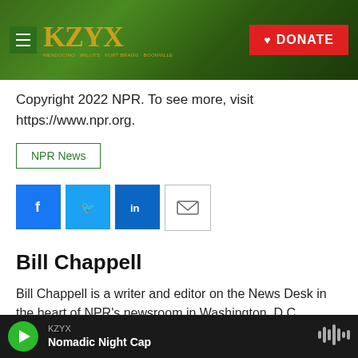[Figure (screenshot): KZYX radio station website header with forest background, hamburger menu icon, KZYX logo in gold, and red DONATE button]
Copyright 2022 NPR. To see more, visit https://www.npr.org.
NPR News
[Figure (infographic): Social sharing buttons: Facebook (blue), Twitter (blue), LinkedIn (blue), Email (white with border)]
Bill Chappell
Bill Chappell is a writer and editor on the News Desk in the heart of NPR's newsroom in Washington, D.C.
See stories by Bill Chappell
KZYX  Nomadic Night Cap